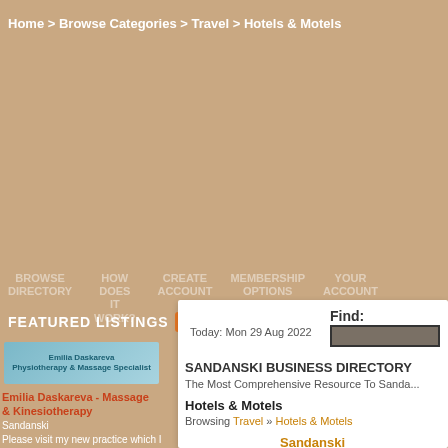Home > Browse Categories > Travel > Hotels & Motels
FEATURED LISTINGS
[Figure (screenshot): Featured listing card for Emilia Daskareva - Physiotherapy & Massage Specialist with teal/blue banner image]
Emilia Daskareva - Massage & Kinesiotherapy
Sandanski
Please visit my new practice which I opened after working many years in various places both in Bulgaria and around the world. I used to be a professional sports athlete (swimming) before I started as a
Find:
Today: Mon 29 Aug 2022
SANDANSKI BUSINESS DIRECTORY
The Most Comprehensive Resource To Sandanski
Hotels & Motels
Browsing Travel » Hotels & Motels
Sandanski